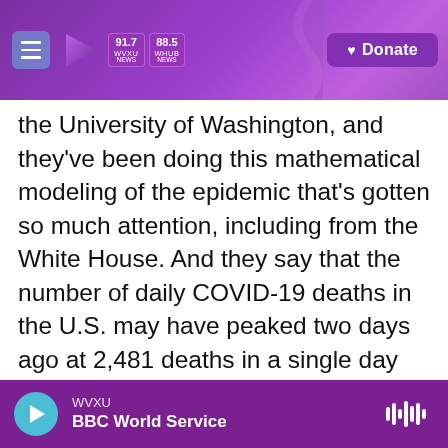91.7 WVXU NEWS | 88.5 WHUB NEWS | Donate
the University of Washington, and they've been doing this mathematical modeling of the epidemic that's gotten so much attention, including from the White House. And they say that the number of daily COVID-19 deaths in the U.S. may have peaked two days ago at 2,481 deaths in a single day and that some states could try to start to reopen as early as May 4. Those include Vermont, West Virginia, Montana and Hawaii. But other states would have to wait at least until late June or early July, like Iowa, the Dakotas, Nebraska, Utah, Arkansas and Oklahoma. But I should mention that not everyone agrees with this group's projections.
WVXU — BBC World Service